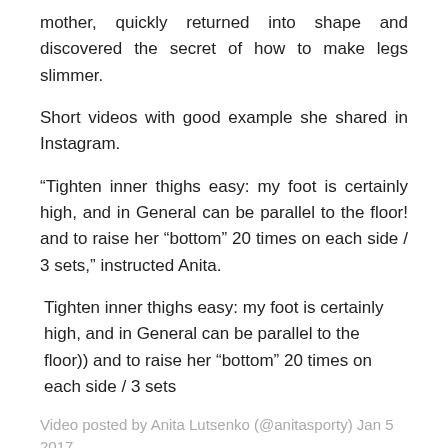mother, quickly returned into shape and discovered the secret of how to make legs slimmer.
Short videos with good example she shared in Instagram.
“Tighten inner thighs easy: my foot is certainly high, and in General can be parallel to the floor! and to raise her “bottom” 20 times on each side / 3 sets,” instructed Anita.
Tighten inner thighs easy: my foot is certainly high, and in General can be parallel to the floor)) and to raise her “bottom” 20 times on each side / 3 sets
Video posted by Anita Lutsenko (@anitasporty) Jan 5 2017 …
She also showed another effective exercise that will be useful not only for the hips but also for the buttocks and belly.